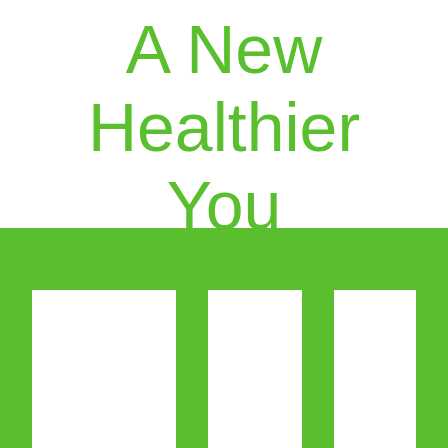A New Healthier You
[Figure (illustration): Three white rectangular cells arranged side by side within a green frame structure, resembling a stylized table or pillbox layout. Green horizontal bar across the top with three tall white rectangles below, partially cut off at bottom of page.]